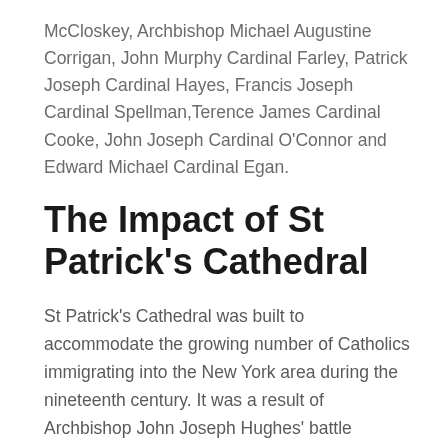McCloskey, Archbishop Michael Augustine Corrigan, John Murphy Cardinal Farley, Patrick Joseph Cardinal Hayes, Francis Joseph Cardinal Spellman,Terence James Cardinal Cooke, John Joseph Cardinal O'Connor and Edward Michael Cardinal Egan.
The Impact of St Patrick's Cathedral
St Patrick's Cathedral was built to accommodate the growing number of Catholics immigrating into the New York area during the nineteenth century. It was a result of Archbishop John Joseph Hughes' battle against the anti-catholic wave that had been present in the New York area since colonial days. It was the first Gothic Medieval style Church built in the United States and it remains the most